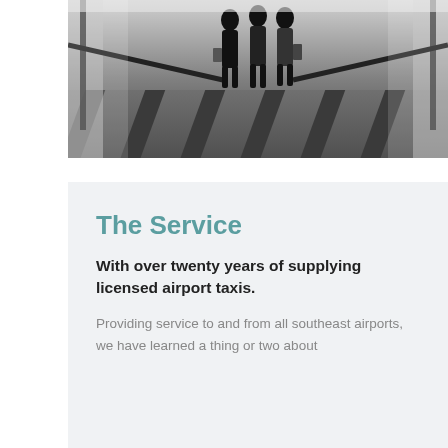[Figure (photo): Black and white photograph of people walking through an airport corridor with diagonal striped flooring and railings on both sides, viewed from behind]
The Service
With over twenty years of supplying licensed airport taxis.
Providing service to and from all southeast airports, we have learned a thing or two about